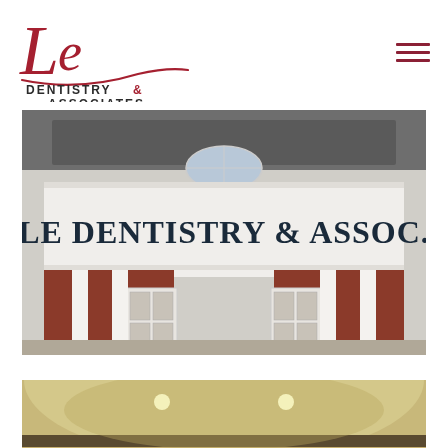[Figure (logo): Le Dentistry & Associates logo with italic red cursive 'Le' text and black serif lettering below]
[Figure (photo): Exterior photo of Le Dentistry & Assoc. building showing white colonial-style facade with brick exterior and large signage reading 'LE DENTISTRY & ASSOC.']
[Figure (photo): Interior photo of Le Dentistry & Associates office showing curved reception area with warm lighting and a red heart decoration]